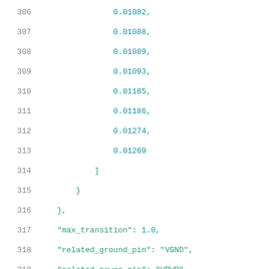306    0.01082,
307    0.01088,
308    0.01089,
309    0.01093,
310    0.01185,
311    0.01186,
312    0.01274,
313    0.01269
314    ]
315    }
316    },
317    "max_transition": 1.0,
318    "related_ground_pin": "VGND",
319    "related_power_pin": "VPWR"
320    },
321    "pin,C1": {
322        "capacitance": 0.0052,
323        "clock": "false",
324        "direction": "input",
325        "internal_power": {
326            "fall_power,hidden_pwr_template13": {